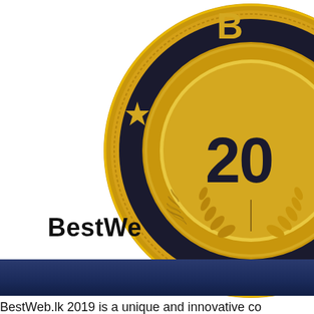[Figure (logo): Gold and black award medal/seal for BestWeb.lk 2019, partially cropped at top-right. Shows circular badge with gold outer ring, black band with star, gold laurel wreath at bottom, and '20' visible (part of 2019) on gold center. Letter 'B' visible at top.]
BestWe
BestWeb.lk 2019 is a unique and innovative co Registry for the Ninth Time to recognize the b